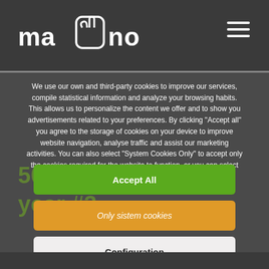ma[hand icon]no — navigation header with hamburger menu
We use our own and third-party cookies to improve our services, compile statistical information and analyze your browsing habits. This allows us to personalize the content we offer and to show you advertisements related to your preferences. By clicking "Accept all" you agree to the storage of cookies on your device to improve website navigation, analyse traffic and assist our marketing activities. You can also select "System Cookies Only" to accept only the cookies required for the website to function, or you can select the cookies you wish to activate by clicking on "settings".
Accept All
Only sistem cookies
Configuration